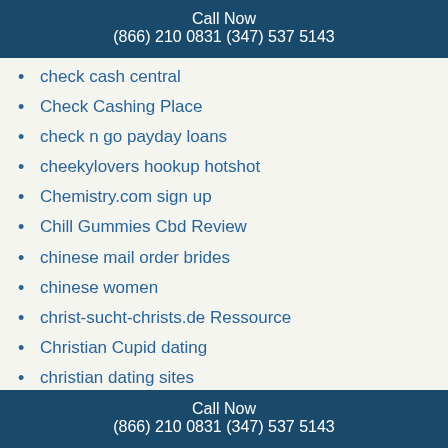Call Now
(866) 210 0831 (347) 537 5143
check cash central
Check Cashing Place
check n go payday loans
cheekylovers hookup hotshot
Chemistry.com sign up
Chill Gummies Cbd Review
chinese mail order brides
chinese women
christ-sucht-christs.de Ressource
Christian Cupid dating
christian dating sites
Christian Payday Loans
christiandatingforfree reddit
Christiandatingforfree review
christianmingle review
christianmingle reviews reviews
Circlive
Call Now
(866) 210 0831 (347) 537 5143